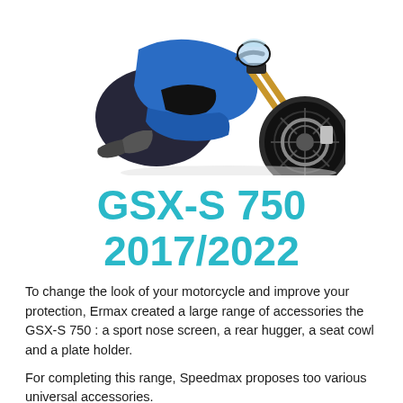[Figure (photo): Photo of a blue and black Suzuki GSX-S 750 motorcycle, angled front-right view showing the front wheel, forks, and fairing against a white background.]
GSX-S 750 2017/2022
To change the look of your motorcycle and improve your protection, Ermax created a large range of accessories the GSX-S 750 : a sport nose screen, a rear hugger, a seat cowl and a plate holder.
For completing this range, Speedmax proposes too various universal accessories.